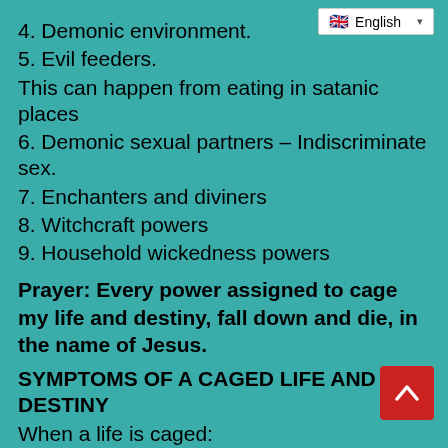4. Demonic environment.
5. Evil feeders.
This can happen from eating in satanic places
6. Demonic sexual partners – Indiscriminate sex.
7. Enchanters and diviners
8. Witchcraft powers
9. Household wickedness powers
Prayer: Every power assigned to cage my life and destiny, fall down and die, in the name of Jesus.
SYMPTOMS OF A CAGED LIFE AND DESTINY
When a life is caged:
1. Life becomes like that of a caged bird or